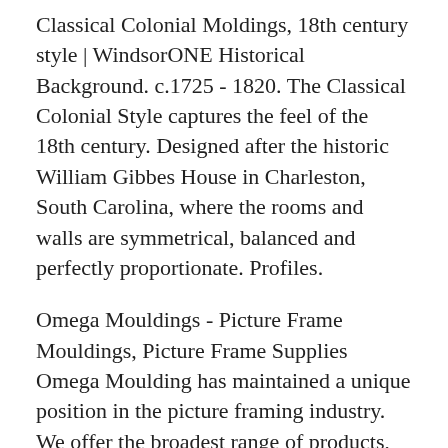Classical Colonial Moldings, 18th century style | WindsorONE Historical Background. c.1725 - 1820. The Classical Colonial Style captures the feel of the 18th century. Designed after the historic William Gibbes House in Charleston, South Carolina, where the rooms and walls are symmetrical, balanced and perfectly proportionate. Profiles.
Omega Mouldings - Picture Frame Mouldings, Picture Frame Supplies Omega Moulding has maintained a unique position in the picture framing industry. We offer the broadest range of products, and our culture of innovation Read more. Why Omega? Omega offers a wide selection of carefully curated designs to suit a variety of needs for projects ranging from residential to commercial Read more. OUR PRODUCTS. Mouldings.
Zorro Hat,Spanish Gaucho Hats,French Beret,Australian